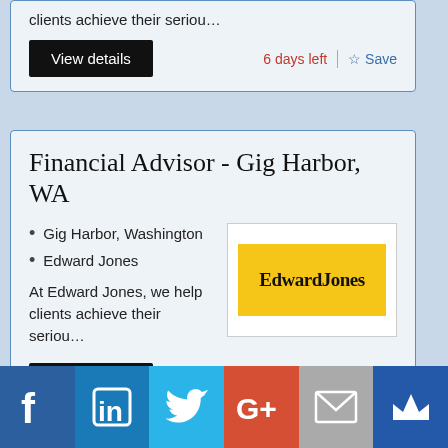clients achieve their seriou…
6 days left
Save
Financial Advisor - Gig Harbor, WA
Gig Harbor, Washington
Edward Jones
[Figure (logo): Edward Jones yellow logo]
At Edward Jones, we help clients achieve their seriou…
6 days left
Save
[Figure (infographic): Social media sharing bar with Facebook, LinkedIn, Twitter, Google+, Email, and Crown icons]